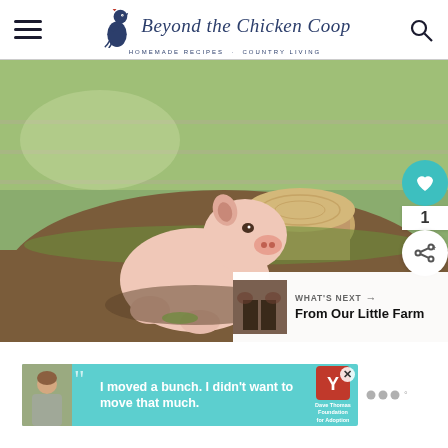Beyond the Chicken Coop — Homemade Recipes · Country Living
[Figure (photo): A pink pig sitting in a muddy pen next to a tree stump, looking upward. Grass and wire fencing visible in background. Social share buttons (heart, count 1, share) overlay the right side. A 'WHAT'S NEXT → From Our Little Farm' thumbnail overlay appears at bottom right.]
[Figure (other): Advertisement banner: Dave Thomas Foundation for Adoption. Shows a young man with quote 'I moved a bunch. I didn't want to move that much.' with DTF logo.]